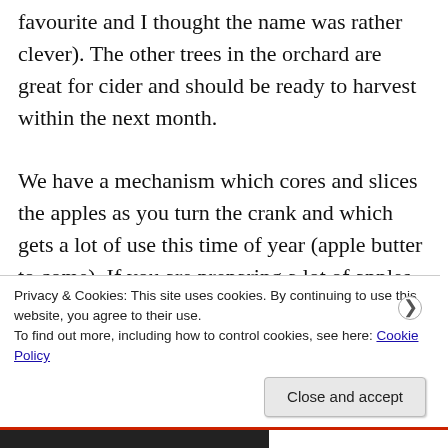favourite and I thought the name was rather clever). The other trees in the orchard are great for cider and should be ready to harvest within the next month.

We have a mechanism which cores and slices the apples as you turn the crank and which gets a lot of use this time of year (apple butter to come). If you are preparing a lot of apples, these are a godsend. To preserve our extra apples, we then freeze the cored and sliced apples for crumbles to come.
Privacy & Cookies: This site uses cookies. By continuing to use this website, you agree to their use.
To find out more, including how to control cookies, see here: Cookie Policy